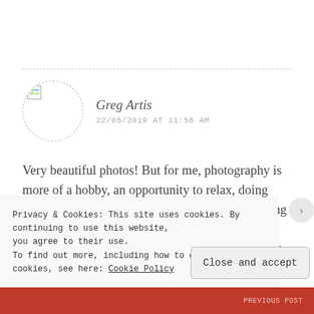[Figure (photo): Avatar placeholder image with dashed circular border]
Greg Artis
22/05/2019 AT 11:56 AM
Very beautiful photos! But for me, photography is more of a hobby, an opportunity to relax, doing what you like. I study in college and it takes a long time to complete academic tasks. I am very glad that I found an excellent website with tips on how to write an essay.
Privacy & Cookies: This site uses cookies. By continuing to use this website, you agree to their use.
To find out more, including how to control cookies, see here: Cookie Policy
Close and accept